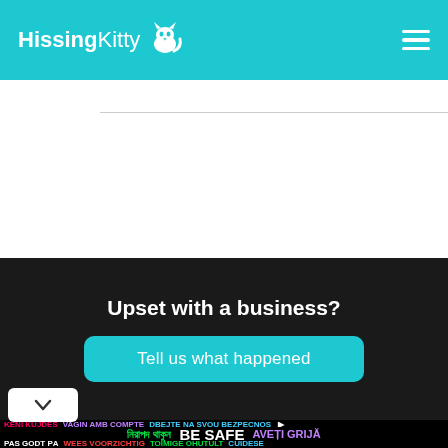HissingKitty
[Figure (screenshot): White content area below header with a thin horizontal gray line]
Upset with a business?
Tell us what happened
Business Blog   Companies   Categories   About   Contact Us   Privacy Policy   Product Reviews
[Figure (infographic): Ad banner: KENI KUJDES VAGIN AMB COMPTE DBEJTE NA SVOU BEZPECNOS | নিরাপদ থাকুন BE SAFE AVETI GRIJA | PAS GODT PA WEES VOORZICHTIG TOIMIGE OHUTULT CUIDESE]